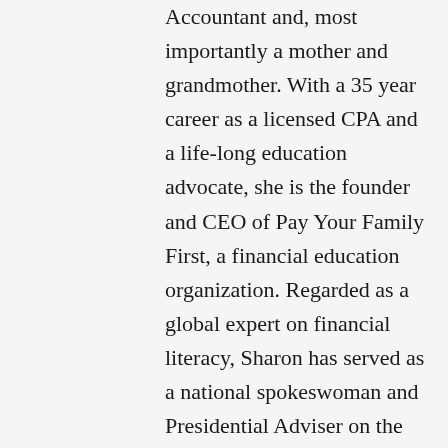Accountant and, most importantly a mother and grandmother. With a 35 year career as a licensed CPA and a life-long education advocate, she is the founder and CEO of Pay Your Family First, a financial education organization. Regarded as a global expert on financial literacy, Sharon has served as a national spokeswoman and Presidential Adviser on the topic. In 2016 Sharon was appointed by Junior Achievement as a JA University of Success Founding Chancellor and in 2017 as Arizona Chairman for the 2020 Women on Boards initiative. In 2019 Sharon was appointed by Arizona State Treasurer Kimberly Yee to the Arizona Financial